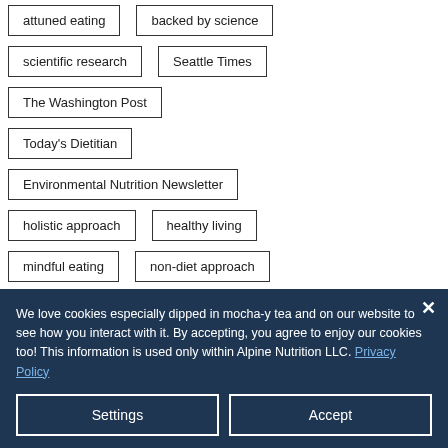attuned eating
backed by science
scientific research
Seattle Times
The Washington Post
Today's Dietitian
Environmental Nutrition Newsletter
holistic approach
healthy living
mindful eating
non-diet approach
We love cookies especially dipped in mocha-y tea and on our website to see how you interact with it. By accepting, you agree to enjoy our cookies too! This information is used only within Alpine Nutrition LLC. Privacy Policy
Settings
Accept